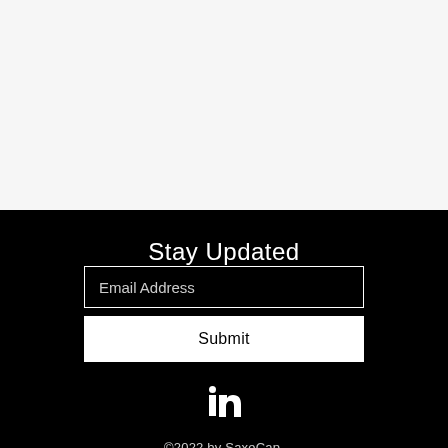Stay Updated
Email Address
Submit
[Figure (logo): LinkedIn logo icon in white]
©2022 by SaxeCap.